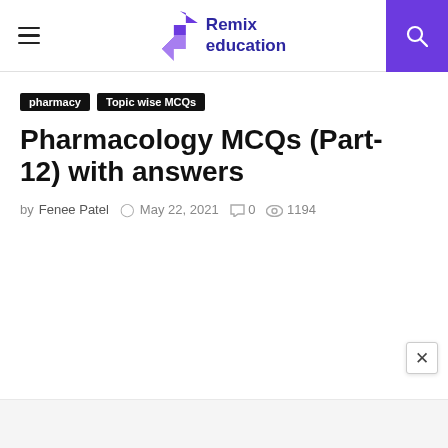Remix education
pharmacy
Topic wise MCQs
Pharmacology MCQs (Part- 12) with answers
by Fenee Patel  May 22, 2021  0  1194